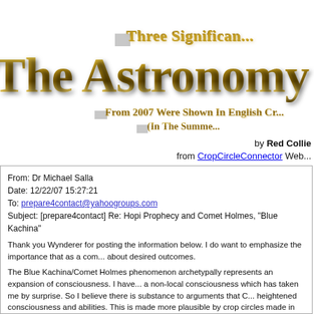Three Significan...
The Astronomy O...
From 2007 Were Shown In English Cr... (In The Summe...
by Red Collie
from CropCircleConnector Web...
From: Dr Michael Salla
Date: 12/22/07 15:27:21
To: prepare4contact@yahoogroups.com
Subject: [prepare4contact] Re: Hopi Prophecy and Comet Holmes, "Blue Kachina"
Thank you Wynderer for posting the information below. I do want to emphasize the importance that as a com... about desired outcomes.
The Blue Kachina/Comet Holmes phenomenon archetypally represents an expansion of consciousness. I have... a non-local consciousness which has taken me by surprise. So I believe there is substance to arguments that C... heightened consciousness and abilities. This is made more plausible by crop circles made in 2005 depicting t...
I recommend reading the below article on the crop circles and the Blue Kachina/Comet Holmes.
Now I want to draw everyone’s attention to what the Hopi’s say follows the Blue Kachina:
“Not far behind the twins will come the Purifier The Red Katchina, who will bring the Day of Puri...